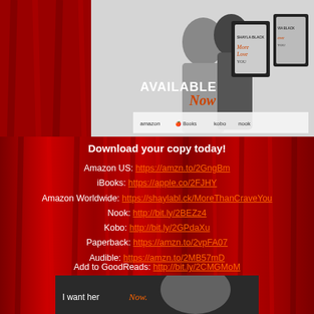[Figure (photo): Promotional image for a romance novel 'More Than Crave You' / 'More Than Love You' by Shayla Black, showing a couple embracing in black and white with book cover mockups shown on tablet/phone devices, and 'Available Now' text with retailer logos (amazon, Apple Books, kobo, nook). Red curtain background visible on sides.]
Download your copy today!
Amazon US: https://amzn.to/2GngBm
iBooks: https://apple.co/2FJHY
Amazon Worldwide: https://shaylabl.ck/MoreThanCraveYou
Nook: http://bit.ly/2BEZz4
Kobo: http://bit.ly/2GPdaXu
Paperback: https://amzn.to/2vpFA07
Audible: https://amzn.to/2MB57mD
Add to GoodReads: http://bit.ly/2CMGMoM
[Figure (photo): Black and white photo of a man's face close up with text 'I want her now.' overlaid in italic white/orange text]